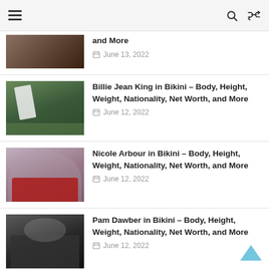Navigation bar with hamburger menu, search and shuffle icons
and More — June 13, 2022
Billie Jean King in Bikini – Body, Height, Weight, Nationality, Net Worth, and More — June 12, 2022
Nicole Arbour in Bikini – Body, Height, Weight, Nationality, Net Worth, and More — June 12, 2022
Pam Dawber in Bikini – Body, Height, Weight, Nationality, Net Worth, and More — June 12, 2022